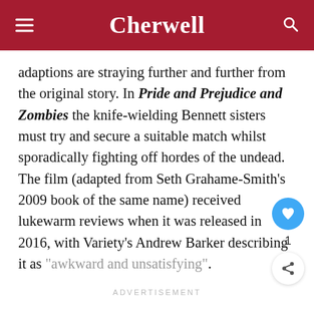Cherwell
adaptions are straying further and further from the original story. In Pride and Prejudice and Zombies the knife-wielding Bennett sisters must try and secure a suitable match whilst sporadically fighting off hordes of the undead. The film (adapted from Seth Grahame-Smith’s 2009 book of the same name) received lukewarm reviews when it was released in 2016, with Variety’s Andrew Barker describing it as “awkward and unsatisfying”.
ADVERTISEMENT